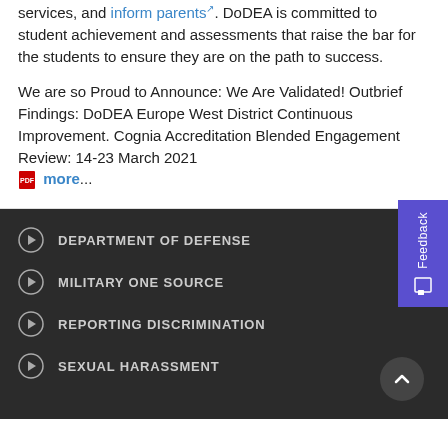services, and inform parents. DoDEA is committed to student achievement and assessments that raise the bar for the students to ensure they are on the path to success.
We are so Proud to Announce: We Are Validated! Outbrief Findings: DoDEA Europe West District Continuous Improvement. Cognia Accreditation Blended Engagement Review: 14-23 March 2021 more...
DEPARTMENT OF DEFENSE
MILITARY ONE SOURCE
REPORTING DISCRIMINATION
SEXUAL HARASSMENT